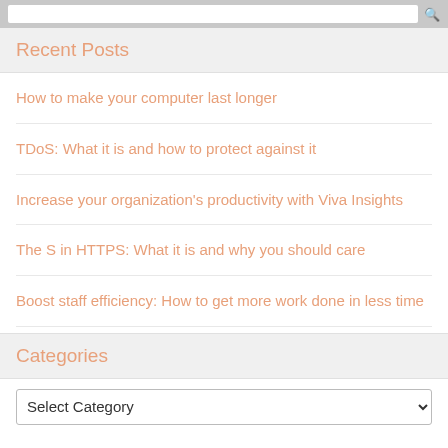Recent Posts
How to make your computer last longer
TDoS: What it is and how to protect against it
Increase your organization's productivity with Viva Insights
The S in HTTPS: What it is and why you should care
Boost staff efficiency: How to get more work done in less time
Categories
Select Category